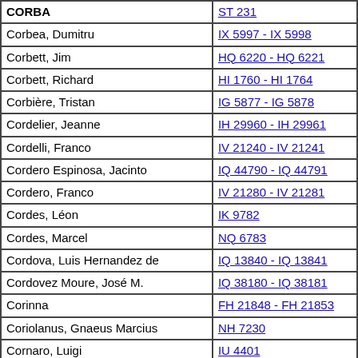| Name | Reference |
| --- | --- |
| CORBA | ST 231 |
| Corbea, Dumitru | IX 5997 - IX 5998 |
| Corbett, Jim | HQ 6220 - HQ 6221 |
| Corbett, Richard | HI 1760 - HI 1764 |
| Corbière, Tristan | IG 5877 - IG 5878 |
| Cordelier, Jeanne | IH 29960 - IH 29961 |
| Cordelli, Franco | IV 21240 - IV 21241 |
| Cordero Espinosa, Jacinto | IQ 44790 - IQ 44791 |
| Cordero, Franco | IV 21280 - IV 21281 |
| Cordes, Léon | IK 9782 |
| Cordes, Marcel | NQ 6783 |
| Cordova, Luis Hernandez de | IQ 13840 - IQ 13841 |
| Cordovez Moure, José M. | IQ 38180 - IQ 38181 |
| Corinna | FH 21848 - FH 21853 |
| Coriolanus, Gnaeus Marcius | NH 7230 |
| Cornaro, Luigi | IU 4401 |
| Cornazzano, Antonio | FZ 35000 - FZ 35005 |
| Corneille, Pierre | IF 7100 - IF 7105 |
| Corneille, Thomas | IF 7106 |
| Cornejo, Damián | IQ 3090 - IQ 3091 |